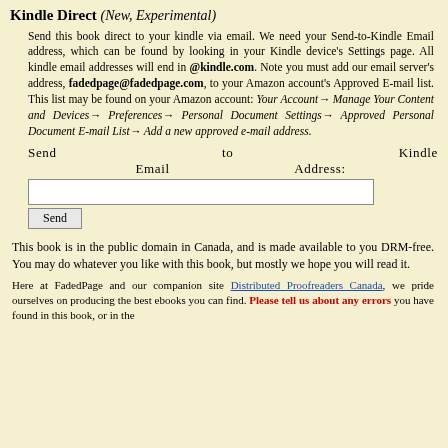Kindle Direct (New, Experimental)
Send this book direct to your kindle via email. We need your Send-to-Kindle Email address, which can be found by looking in your Kindle device's Settings page. All kindle email addresses will end in @kindle.com. Note you must add our email server's address, fadedpage@fadedpage.com, to your Amazon account's Approved E-mail list. This list may be found on your Amazon account: Your Account→ Manage Your Content and Devices→ Preferences→ Personal Document Settings→ Approved Personal Document E-mail List→ Add a new approved e-mail address.
Send to Kindle Email Address:
Send
This book is in the public domain in Canada, and is made available to you DRM-free. You may do whatever you like with this book, but mostly we hope you will read it.
Here at FadedPage and our companion site Distributed Proofreaders Canada, we pride ourselves on producing the best ebooks you can find. Please tell us about any errors you have found in this book, or in the